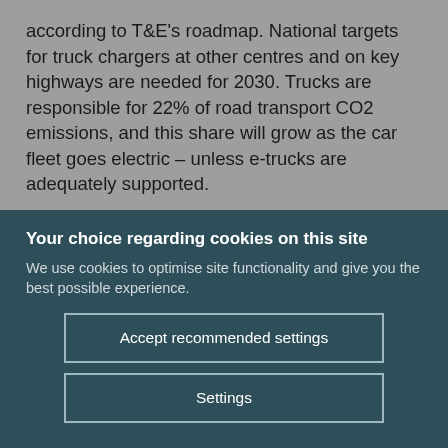according to T&E's roadmap. National targets for truck chargers at other centres and on key highways are needed for 2030. Trucks are responsible for 22% of road transport CO2 emissions, and this share will grow as the car fleet goes electric – unless e-trucks are adequately supported.
Your choice regarding cookies on this site
We use cookies to optimise site functionality and give you the best possible experience.
Accept recommended settings
Settings